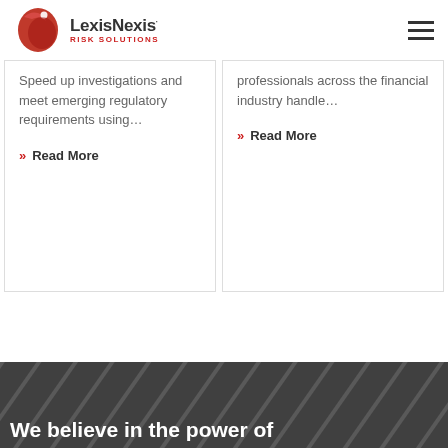LexisNexis Risk Solutions
Speed up investigations and meet emerging regulatory requirements using…
Read More
professionals across the financial industry handle…
Read More
We believe in the power of